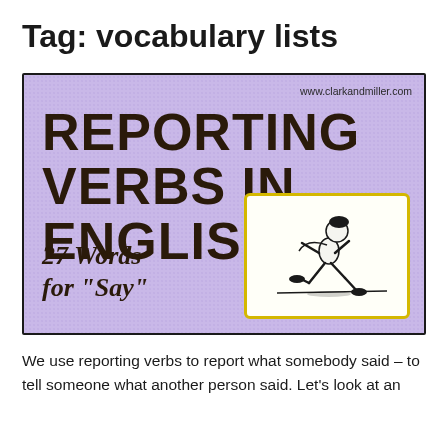Tag: vocabulary lists
[Figure (illustration): Purple textured background image with bold black text reading 'REPORTING VERBS IN ENGLISH:' and italic text '27 Words for "Say"', with a small card in the bottom right showing a black-and-white illustration of a running child, and the URL www.clarkandmiller.com in the top right corner.]
We use reporting verbs to report what somebody said – to tell someone what another person said. Let's look at an